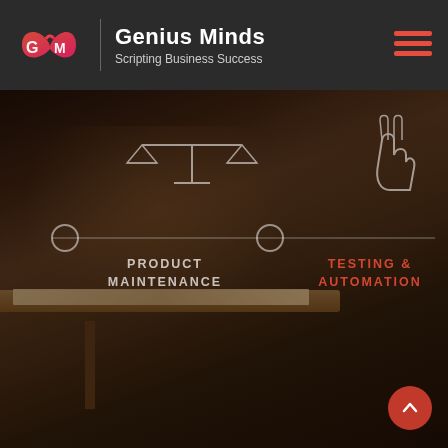[Figure (logo): Genius Minds logo: red/pink infinity-style G-M symbol on dark header background]
Genius Minds
Scripting Business Success
[Figure (photo): Dark-toned photo of a person in a suit reading a book at a table in what appears to be a library or cafe. Overlaid with semi-transparent icons and text labels for 'PRODUCT MAINTENANCE' and 'TESTING & AUTOMATION' connected by a horizontal timeline with circle nodes. Scale-of-justice icon above left label, peace/victory hand icon above right label.]
PRODUCT MAINTENANCE
TESTING & AUTOMATION